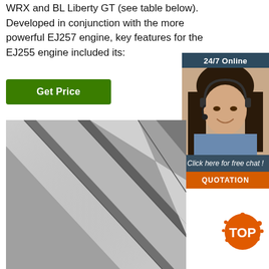WRX and BL Liberty GT (see table below). Developed in conjunction with the more powerful EJ257 engine, key features for the EJ255 engine included its:
[Figure (other): Green 'Get Price' button]
[Figure (infographic): 24/7 Online chat widget sidebar with a photo of a woman wearing a headset, 'Click here for free chat!' text, and an orange QUOTATION button]
[Figure (photo): Black and white close-up photo of metallic fins or strips arranged diagonally]
[Figure (logo): Orange TOP badge/logo in bottom right corner]